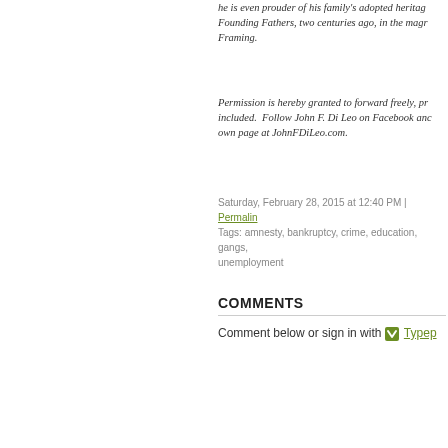he is even prouder of his family's adopted heritage, from the Founding Fathers, two centuries ago, in the magn... Framing.
Permission is hereby granted to forward freely, pr... included.  Follow John F. Di Leo on Facebook and... own page at JohnFDiLeo.com.
Saturday, February 28, 2015 at 12:40 PM | Permalink Tags: amnesty, bankruptcy, crime, education, gangs, unemployment
COMMENTS
Comment below or sign in with Typepad